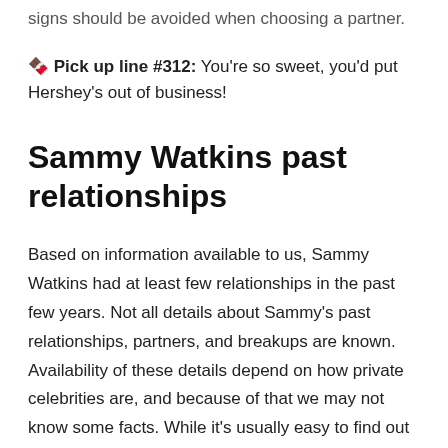signs should be avoided when choosing a partner.
🍫 Pick up line #312: You're so sweet, you'd put Hershey's out of business!
Sammy Watkins past relationships
Based on information available to us, Sammy Watkins had at least few relationships in the past few years. Not all details about Sammy's past relationships, partners, and breakups are known. Availability of these details depend on how private celebrities are, and because of that we may not know some facts. While it's usually easy to find out who is Sammy Watkins dating, it is